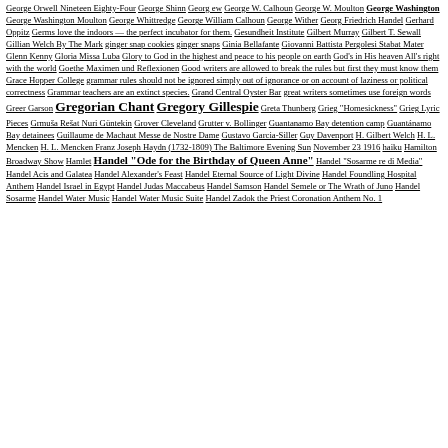George Orwell Nineteen Eighty-Four George Shinn Georg ew George W. Calhoun George W. Moulton George Washington George Washington Moulton George Whittredge George William Calhoun George Wither Georg Friedrich Handel Gerhard Oppitz Germs love the indoors — the perfect incubator for them. Gesundheit Institute Gilbert Murray Gilbert T. Sewall Gillian Welch By The Mark ginger snap cookies ginger snaps Ginia Bellafante Giovanni Battista Pergolesi Stabat Mater Glenn Kenny Gloria Missa Luba Glory to God in the highest and peace to his people on earth God's in His heaven All's right with the world Goethe Maximen und Reflexionen Good writers are allowed to break the rules but first they must know them Grace Hopper College grammar rules should not be ignored simply out of ignorance or on account of laziness or political correctness Grammar teachers are an extinct species. Grand Central Oyster Bar great writers sometimes use foreign words Greer Garson Gregorian Chant Gregory Gillespie Greta Thunberg Grieg "Homesickness" Grieg Lyric Pieces Grmuša Rešat Nuri Güntekin Grover Cleveland Grutter v. Bollinger Guantanamo Bay detention camp Guantánamo Bay detainees Guillaume de Machaut Messe de Nostre Dame Gustavo Garcia-Siller Guy Davenport H. Gilbert Welch H. L. Mencken H. L. Mencken Franz Joseph Haydn (1732-1809) The Baltimore Evening Sun November 23 1916 haiku Hamilton Broadway Show Hamlet Handel "Ode for the Birthday of Queen Anne" Handel "Sosarme re di Media" Handel Acis and Galatea Handel Alexander's Feast Handel Eternal Source of Light Divine Handel Foundling Hospital Anthem Handel Israel in Egypt Handel Judas Maccabeus Handel Samson Handel Semele or The Wrath of Juno Handel Sosarme Handel Water Music Handel Water Music Suite Handel Zadok the Priest Coronation Anthem No. 1